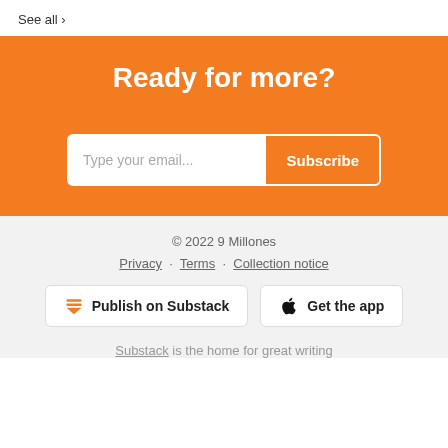See all >
Ready for more?
Type your email... Subscribe
© 2022 9 Millones
Privacy · Terms · Collection notice
Publish on Substack
Get the app
Substack is the home for great writing